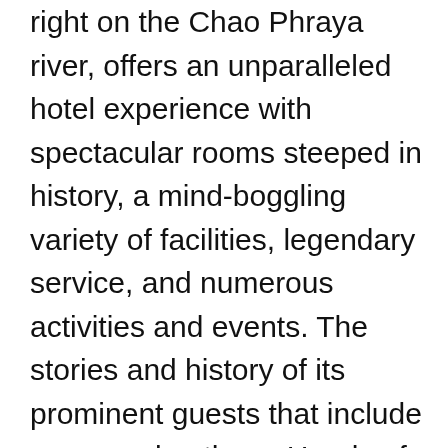right on the Chao Phraya river, offers an unparalleled hotel experience with spectacular rooms steeped in history, a mind-boggling variety of facilities, legendary service, and numerous activities and events. The stories and history of its prominent guests that include renowned authors, Heads of State and other luminaries, have been integrated into the hotel's narrative and décor. Done up in a rich colonial style, the hotel features 324 rooms and 44 Suites (35 sq m to 326 sq m), with distinctive character. Rooms feature fantastic river views, high ceilings and an abundance of natural teaks, Thai silks, wide French windows, spacious